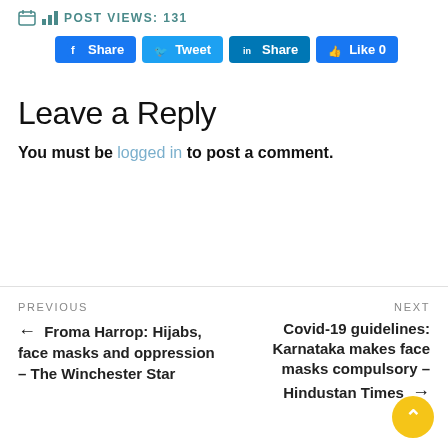POST VIEWS: 131
[Figure (infographic): Social share buttons: Facebook Share, Tweet, LinkedIn Share, Like 0]
Leave a Reply
You must be logged in to post a comment.
PREVIOUS ← Froma Harrop: Hijabs, face masks and oppression – The Winchester Star
NEXT Covid-19 guidelines: Karnataka makes face masks compulsory – Hindustan Times →